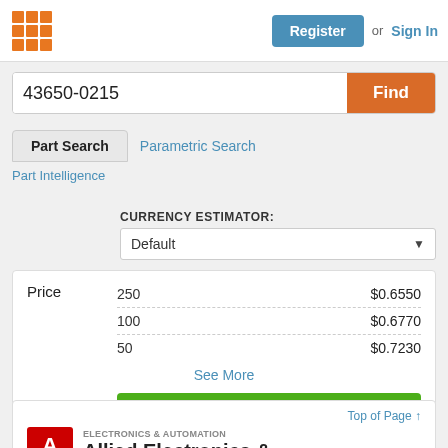Register or Sign In
43650-0215
Part Search | Parametric Search
Part Intelligence
CURRENCY ESTIMATOR: Default
| Price | Qty | Amount |
| --- | --- | --- |
| Price | 250 | $0.6550 |
|  | 100 | $0.6770 |
|  | 50 | $0.7230 |
See More
Buy Now
Top of Page ↑
Allied Electronics &